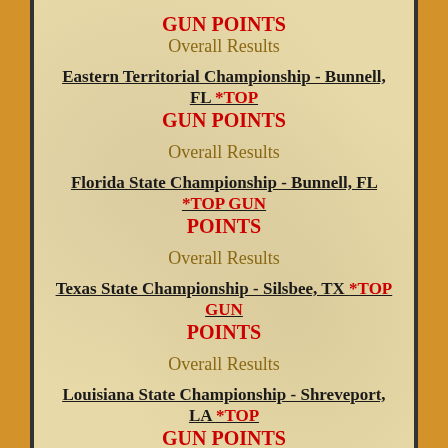GUN POINTS
Overall Results
Eastern Territorial Championship - Bunnell, FL *TOP GUN POINTS
Overall Results
Florida State Championship - Bunnell, FL *TOP GUN POINTS
Overall Results
Texas State Championship - Silsbee, TX *TOP GUN POINTS
Overall Results
Louisiana State Championship - Shreveport, LA *TOP GUN POINTS
Overall Results
Okalahoma State Championship - Kellyville, OK *TOP GUN POINTS